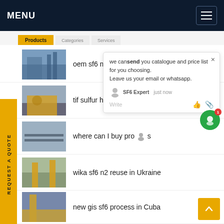MENU
oem sf6 mix End of Life Services in Honduras
tif sulfur hexafluoride va... ia
where can I buy pro... s
wika sf6 n2 reuse in Ukraine
new gis sf6 process in Cuba
wika sf6 Alternatives Reclamation in